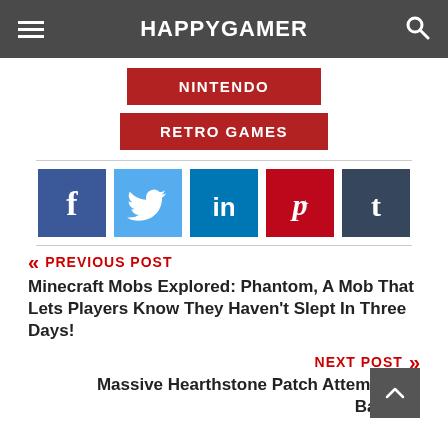HAPPYGAMER
NINTENDO
RETRO GAMES
[Figure (infographic): Social media share buttons: Facebook (dark blue), Twitter (light blue), LinkedIn (blue), Pinterest (red), Tumblr (dark slate blue)]
« PREVIOUS POST
Minecraft Mobs Explored: Phantom, A Mob That Lets Players Know They Haven't Slept In Three Days!
NEXT POST »
Massive Hearthstone Patch Attempts To Balance